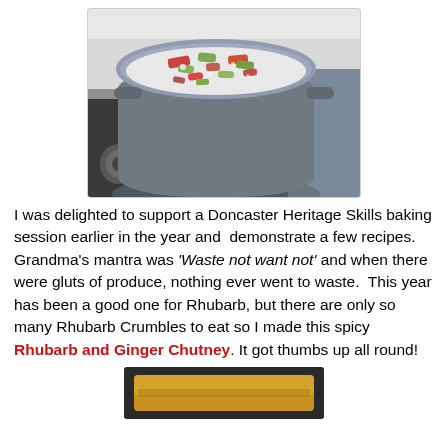[Figure (photo): A white cast-iron pot on a gas stove filled with chopped rhubarb pieces cooking, viewed from above at an angle. The stove has visible burner grates. A granite countertop is visible in the background.]
I was delighted to support a Doncaster Heritage Skills baking session earlier in the year and  demonstrate a few recipes. Grandma’s mantra was ‘Waste not want not’ and when there were gluts of produce, nothing ever went to waste.  This year has been a good one for Rhubarb, but there are only so many Rhubarb Crumbles to eat so I made this spicy Rhubarb and Ginger Chutney. It got thumbs up all round!
[Figure (photo): A baked pastry or bread item on a dark surface, partially visible at the bottom of the page.]